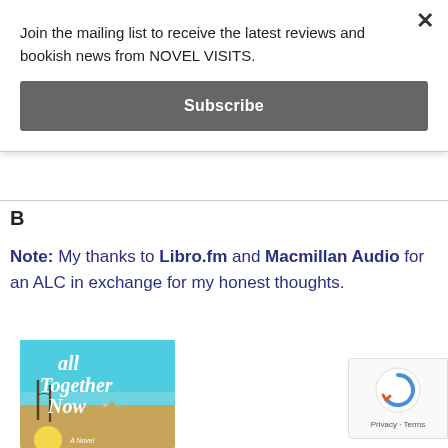Join the mailing list to receive the latest reviews and bookish news from NOVEL VISITS.
Subscribe
B
Note: My thanks to Libro.fm and Macmillan Audio for an ALC in exchange for my honest thoughts.
[Figure (photo): Book cover for 'All Together Now', a novel, featuring a beach scene with turquoise sky, sandy shore, and cursive white title text.]